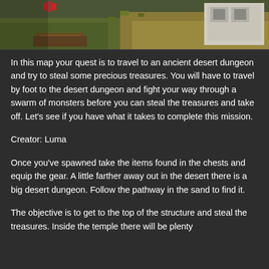[Figure (screenshot): Minecraft screenshot showing a desert dungeon scene with grass, sand terrain and a building structure visible]
In this map your quest is to travel to an ancient desert dungeon and try to steal some precious treasures. You will have to travel by foot to the desert dungeon and fight your way through a swarm of monsters before you can steal the treasures and take off. Let's see if you have what it takes to complete this mission.
Creator: Luma
Once you've spawned take the items found in the chests and equip the gear. A little farther away out in the desert there is a big desert dungeon. Follow the pathway in the sand to find it.
The objective is to get to the top of the structure and steal the treasures. Inside the temple there will be plenty